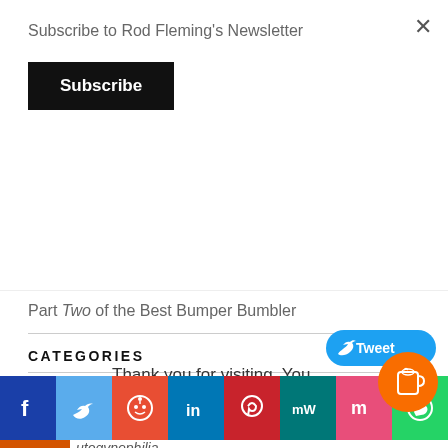Subscribe to Rod Fleming's Newsletter
Subscribe
Part Two of the Best Bumper Bumbler
CATEGORIES
Archive
Art
Art
Thank you for visiting. You
autogynephilia
[Figure (screenshot): Social sharing bar with Facebook, Twitter, Reddit, LinkedIn, Pinterest, MeWe, Mix, WhatsApp icons. Tweet button and coffee/tip button also visible.]